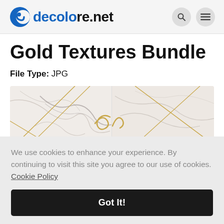decolore.net
Gold Textures Bundle
File Type: JPG
[Figure (photo): Preview of Gold Textures Bundle showing marble texture with gold geometric lines]
We use cookies to enhance your experience. By continuing to visit this site you agree to our use of cookies. Cookie Policy
Got It!